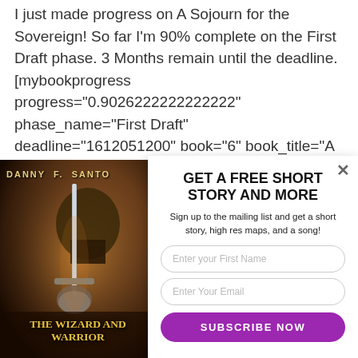I just made progress on A Sojourn for the Sovereign! So far I'm 90% complete on the First Draft phase. 3 Months remain until the deadline. [mybookprogress progress="0.9026222222222222" phase_name="First Draft" deadline="1612051200" book="6" book_title="A Sojourn for the Sovereign"
[Figure (photo): Book cover for 'The Wizard and Warrior' by Danny F. Santos, showing a knight in armor holding a sword, with dark orange/brown tones.]
GET A FREE SHORT STORY AND MORE
Sign up to the mailing list and get a short story, high res maps, and a song!
[Enter your First Name]
[Enter Your Email]
[SUBSCRIBE NOW]